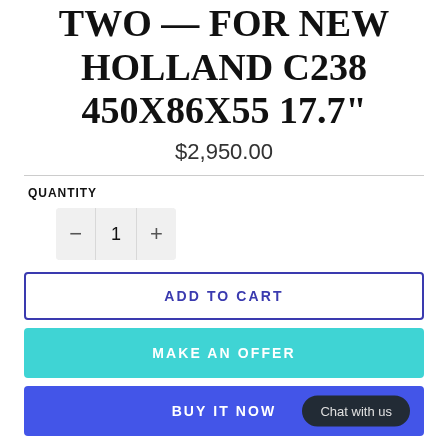TWO — FOR NEW HOLLAND C238 450X86X55 17.7"
$2,950.00
QUANTITY
1
ADD TO CART
MAKE AN OFFER
BUY IT NOW
Chat with us